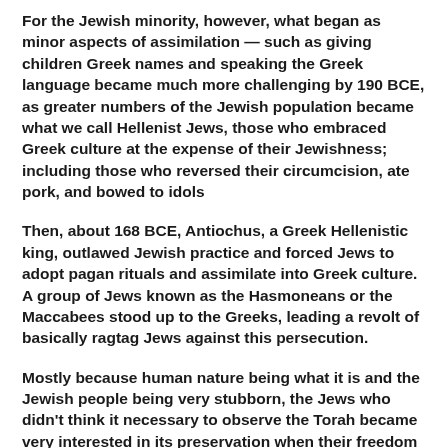For the Jewish minority, however, what began as minor aspects of assimilation — such as giving children Greek names and speaking the Greek language became much more challenging by 190 BCE, as greater numbers of the Jewish population became what we call Hellenist Jews, those who embraced Greek culture at the expense of their Jewishness; including those who reversed their circumcision, ate pork, and bowed to idols
Then, about 168 BCE, Antiochus, a Greek Hellenistic king, outlawed Jewish practice and forced Jews to adopt pagan rituals and assimilate into Greek culture.  A group of Jews known as the Hasmoneans or the Maccabees stood up to the Greeks, leading a revolt of basically ragtag Jews against this persecution.
Mostly because human nature being what it is and the Jewish people being very stubborn, the Jews who didn't think it necessary to observe the Torah became very interested in its preservation when their freedom to be Jews was